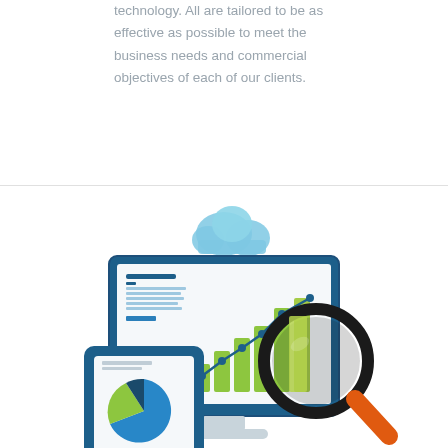technology. All are tailored to be as effective as possible to meet the business needs and commercial objectives of each of our clients.
[Figure (illustration): Business analytics illustration: a desktop monitor displaying a bar/line chart with growing green bars and a rising blue line, a cloud icon above the monitor, a tablet in front showing a pie chart, and a large magnifying glass overlaid on the monitor screen.]